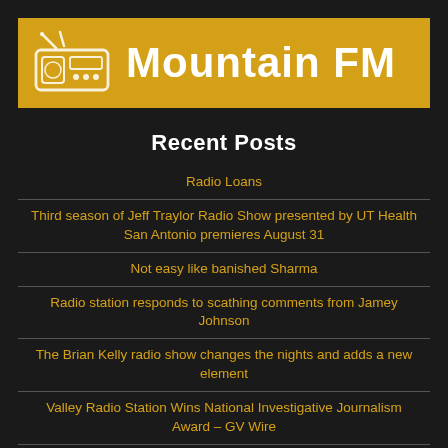[Figure (logo): Mountain FM radio station logo banner with golden/yellow background, radio icon on the left, and 'Mountain FM' text in white bold font on the right]
Recent Posts
Radio Loans
Third season of Jeff Traylor Radio Show presented by UT Health San Antonio premieres August 31
Not easy like banished Sharma
Radio station responds to scathing comments from Jamey Johnson
The Brian Kelly radio show changes the nights and adds a new element
Valley Radio Station Wins National Investigative Journalism Award – GV Wire